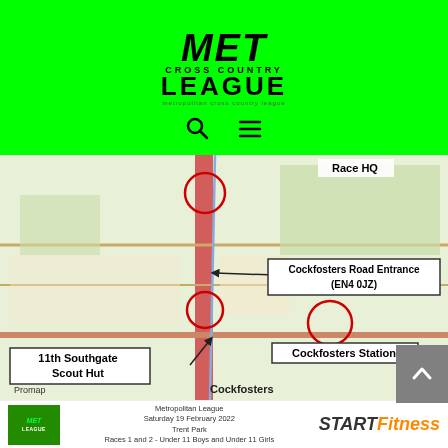[Figure (logo): MET Cross Country League logo in black on green background]
[Figure (illustration): Navigation icons: search (magnifying glass) and hamburger menu on green background]
[Figure (map): Promap street/area map showing Cockfosters area with annotated markers: Race HQ (top right), Cockfosters Road Entrance EN4 0JZ (middle right), 11th Southgate Scout Hut (lower left), Cockfosters Station (lower right). Red circles mark key locations. Cockfosters label at bottom.]
[Figure (illustration): Grey scroll-to-top button with upward arrow chevron]
[Figure (logo): MET League logo (green background, white text)]
Metropolitan League
Saturday 19 February 2022
Trent Park
Races 1 and 2 - Under 11 Boys and Under 11 Girls
[Figure (logo): START Fitness logo (black START, orange Fitness)]
[Figure (map): Aerial/satellite map of Trent Park course showing blue route lines for races, with small labeled markers on the course]